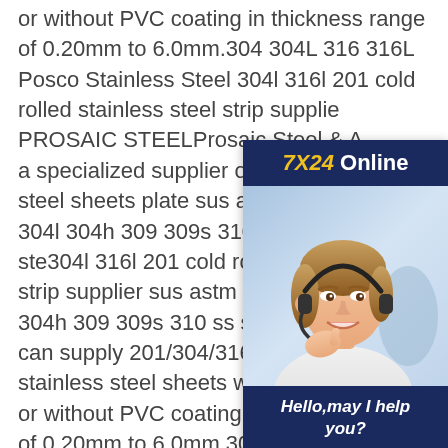or without PVC coating in thickness range of 0.20mm to 6.0mm.304 304L 316 316L Posco Stainless Steel 304l 316l 201 cold rolled stainless steel strip supplier - PROSAIC STEELProsaic Steel & Alloys is a specialized supplier of Posco stainless steel sheets plate sus astm cold rolled 304l 304h 309 309s 310 ss stainless ste304l 316l 201 cold rolled stainless steel strip supplier sus astm cold rolled 304h 309 309s 310 ss stainless steel can supply 201/304/316 cold rolled stainless steel sheets with 2B finish with or without PVC coating in thickness range of 0.20mm to 6.0mm.304 304L 316 316L Posco Stainless Steel 304l 316l 201 cold rolled stainless steel strip supplier - PROSAIC STEELProsaic Steel & Alloys is a specialized supplier of Posco stainless
[Figure (other): Chat widget with header showing '7X24 Online', a photo of a woman with headset smiling, a message 'Hello, may I help you?' and a yellow 'Get Latest Price' button]